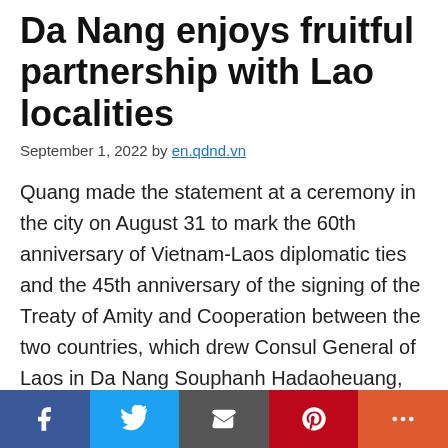Da Nang enjoys fruitful partnership with Lao localities
September 1, 2022 by en.qdnd.vn
Quang made the statement at a ceremony in the city on August 31 to mark the 60th anniversary of Vietnam-Laos diplomatic ties and the 45th anniversary of the signing of the Treaty of Amity and Cooperation between the two countries, which drew Consul General of Laos in Da Nang Souphanh Hadaoheuang, representatives of Da Nang as well as Lao students and officials living, working and studying in the city. He highlighted the significance of the Vietnam-Laos Friendship and Solidarity Year
Social share bar: Facebook, Twitter, Email, Pinterest, More